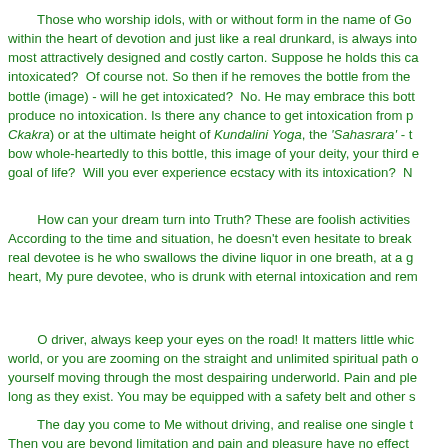Those who worship idols, with or without form in the name of Go... within the heart of devotion and just like a real drunkard, is always into... most attractively designed and costly carton. Suppose he holds this ca... intoxicated? Of course not. So then if he removes the bottle from the ... bottle (image) - will he get intoxicated? No. He may embrace this bott... produce no intoxication. Is there any chance to get intoxication from p... Ckakra) or at the ultimate height of Kundalini Yoga, the 'Sahasrara' - t... bow whole-heartedly to this bottle, this image of your deity, your third e... goal of life? Will you ever experience ecstacy with its intoxication? N...
How can your dream turn into Truth? These are foolish activities... According to the time and situation, he doesn't even hesitate to break... real devotee is he who swallows the divine liquor in one breath, at a g... heart, My pure devotee, who is drunk with eternal intoxication and rem...
O driver, always keep your eyes on the road! It matters little whic... world, or you are zooming on the straight and unlimited spiritual path o... yourself moving through the most despairing underworld. Pain and ple... long as they exist. You may be equipped with a safety belt and other s...
The day you come to Me without driving, and realise one single t... Then you are beyond limitation and pain and pleasure have no effect...